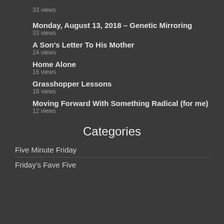33 views
Monday, August 13, 2018 – Genetic Mirroring
33 views
A Son's Letter To His Mother
24 views
Home Alone
16 views
Grasshopper Lessons
16 views
Moving Forward With Something Radical (for me)
12 views
Categories
Five Minute Friday
Friday's Fave Five